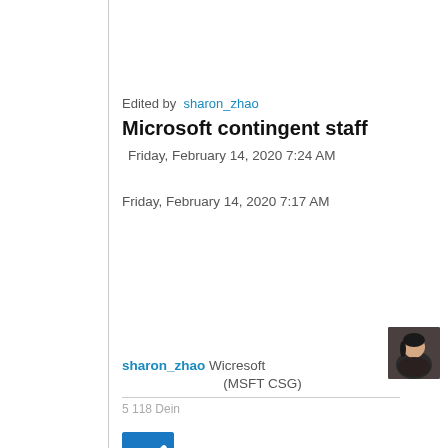Edited by  sharon_zhao
Microsoft contingent staff
Friday, February 14, 2020 7:24 AM
Friday, February 14, 2020 7:17 AM
[Figure (photo): Profile photo of sharon_zhao, a person with dark hair]
sharon_zhao  Wicresoft (MSFT CSG)
[Figure (other): Blue checkbox with white checkmark]
[Figure (other): Upward triangle arrow for upvote]
0
Sign in to vote